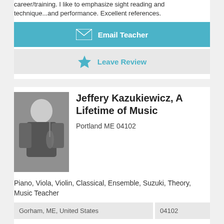career/training. I like to emphasize sight reading and technique...and performance. Excellent references.
Email Teacher
Leave Review
Jeffery Kazukiewicz, A Lifetime of Music
Portland ME 04102
Piano, Viola, Violin, Classical, Ensemble, Suzuki, Theory, Music Teacher
Gorham, ME, United States
04102
I am a prof. musician/instructor offering private lessons to students of all ages interested who seek to learn to play violin, viola and piano to the highest level, from beg. to adv. or simply for fun! Please visit my site for credentials & reviews.
Email Teacher